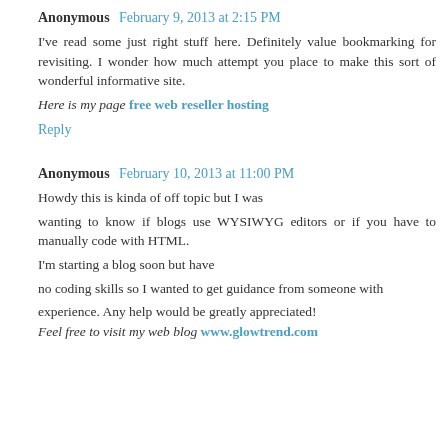Anonymous  February 9, 2013 at 2:15 PM
I've read some just right stuff here. Definitely value bookmarking for revisiting. I wonder how much attempt you place to make this sort of wonderful informative site. Here is my page free web reseller hosting
Reply
Anonymous  February 10, 2013 at 11:00 PM
Howdy this is kinda of off topic but I was wanting to know if blogs use WYSIWYG editors or if you have to manually code with HTML. I'm starting a blog soon but have no coding skills so I wanted to get guidance from someone with experience. Any help would be greatly appreciated! Feel free to visit my web blog www.glowtrend.com